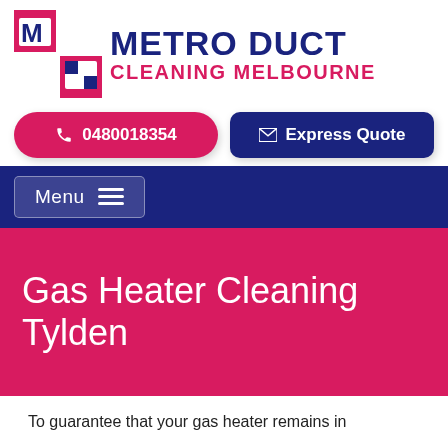[Figure (logo): Metro Duct Cleaning Melbourne logo with M icon in red and blue, company name in dark navy and magenta]
0480018354
Express Quote
Menu
Gas Heater Cleaning Tylden
To guarantee that your gas heater remains in